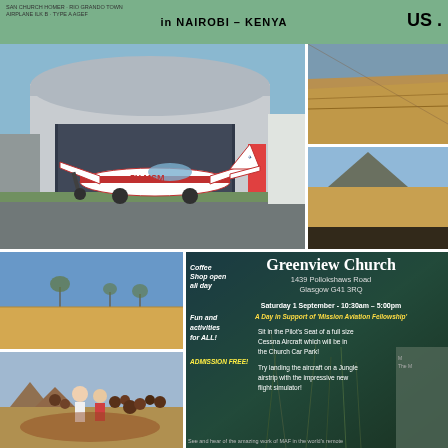[Figure (photo): Green/teal banner at top with text 'in NAIROBI - KENYA' and 'US .' on right, small text on left side]
[Figure (photo): Large photo of a hangar building with a red and white Cessna aircraft (registration 5Y-MSM) parked in front on tarmac]
[Figure (photo): Aerial photo showing a ridge or mountain terrain from above, tan/brown colors]
[Figure (photo): Aerial landscape photo showing arid terrain with a mountain in the background]
[Figure (photo): Photo of flat arid African landscape with sparse trees under blue sky]
[Figure (photo): Photo of group of people including white visitors and African children/locals in outdoor setting]
[Figure (infographic): Greenview Church event notice panel with dark blue-green background. Text includes: 'Coffee Shop open all day', 'Greenview Church 1439 Pollokshaws Road Glasgow G41 3RQ', 'Fun and activities for ALL!', 'Saturday 1 September - 10:30am - 5:00pm', 'A Day in Support of Mission Aviation Fellowship', 'ADMISSION FREE!', 'Sit in the Pilot's Seat of a full size Cessna Aircraft which will be in the Church Car Park!', 'Try landing the aircraft on a Jungle airstrip with the impressive new flight simulator!', 'See and hear of the amazing work of MAF in the world's remote']
[Figure (photo): Photo of aircraft on ground with vegetation in foreground, partially visible on right side of event panel]